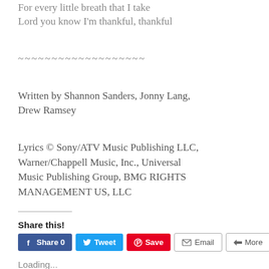For every little breath that I take
Lord you know I'm thankful, thankful
~~~~~~~~~~~~~~~~~~~
Written by Shannon Sanders, Jonny Lang, Drew Ramsey
Lyrics © Sony/ATV Music Publishing LLC, Warner/Chappell Music, Inc., Universal Music Publishing Group, BMG RIGHTS MANAGEMENT US, LLC
Share this!
Loading...